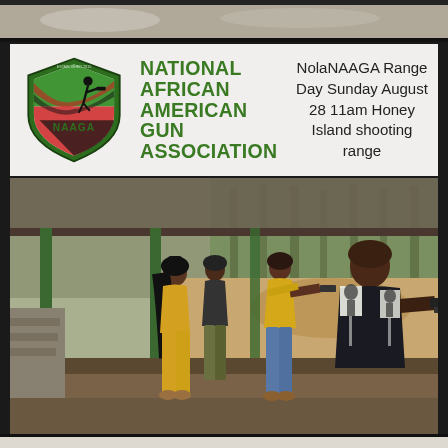[Figure (photo): Partial view of food or crowd photo at top strip]
[Figure (logo): NAAGA shield logo with silhouette of person shooting, red/green/black colors]
NATIONAL AFRICAN AMERICAN GUN ASSOCIATION
NolaNAAGA Range Day Sunday August 28 11am Honey Island shooting range
[Figure (photo): People at an outdoor shooting range. A woman in yellow pants and a woman in a yellow shirt aim handguns at targets. Others stand nearby observing. Green metal pillars support a covered shooting bay roof. Sandy berm with human silhouette targets visible in background.]
[Figure (photo): Partial view of content at bottom strip]